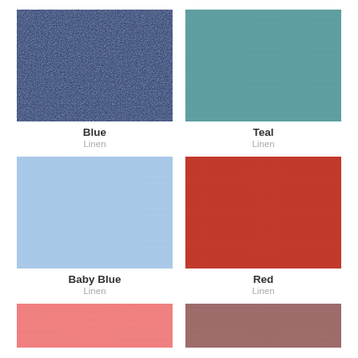[Figure (photo): Blue linen fabric swatch]
Blue
Linen
[Figure (photo): Teal linen fabric swatch]
Teal
Linen
[Figure (photo): Baby Blue linen fabric swatch]
Baby Blue
Linen
[Figure (photo): Red linen fabric swatch]
Red
Linen
[Figure (photo): Pink linen fabric swatch (partial)]
[Figure (photo): Dusty rose/mauve linen fabric swatch (partial)]